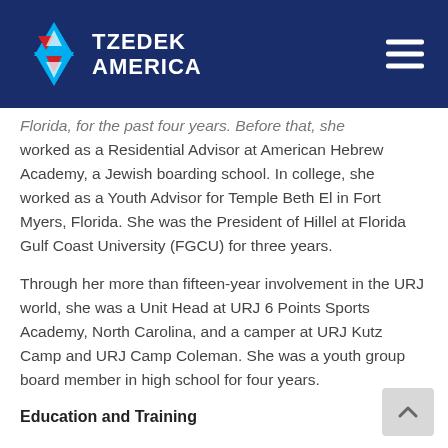TZEDEK AMERICA
Florida, for the past four years. Before that, she worked as a Residential Advisor at American Hebrew Academy, a Jewish boarding school. In college, she worked as a Youth Advisor for Temple Beth El in Fort Myers, Florida. She was the President of Hillel at Florida Gulf Coast University (FGCU) for three years.
Through her more than fifteen-year involvement in the URJ world, she was a Unit Head at URJ 6 Points Sports Academy, North Carolina, and a camper at URJ Kutz Camp and URJ Camp Coleman. She was a youth group board member in high school for four years.
Education and Training
Elana received a Bachelor of Science in Forensic